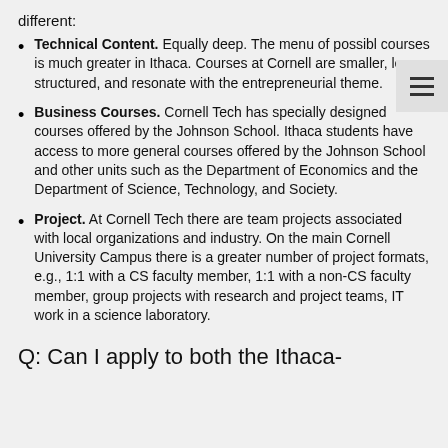different:
Technical Content. Equally deep. The menu of possible courses is much greater in Ithaca. Courses at Cornell are smaller, less structured, and resonate with the entrepreneurial theme.
Business Courses. Cornell Tech has specially designed courses offered by the Johnson School. Ithaca students have access to more general courses offered by the Johnson School and other units such as the Department of Economics and the Department of Science, Technology, and Society.
Project. At Cornell Tech there are team projects associated with local organizations and industry. On the main Cornell University Campus there is a greater number of project formats, e.g., 1:1 with a CS faculty member, 1:1 with a non-CS faculty member, group projects with research and project teams, IT work in a science laboratory.
Q: Can I apply to both the Ithaca-